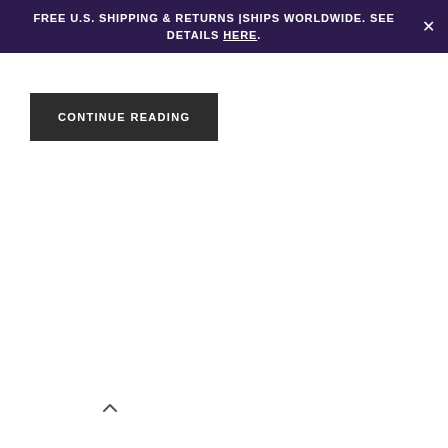FREE U.S. SHIPPING & RETURNS | SHIPS WORLDWIDE. SEE DETAILS HERE.
CONTINUE READING
[Figure (other): Navigation chevron/up arrow icon at bottom left of page]